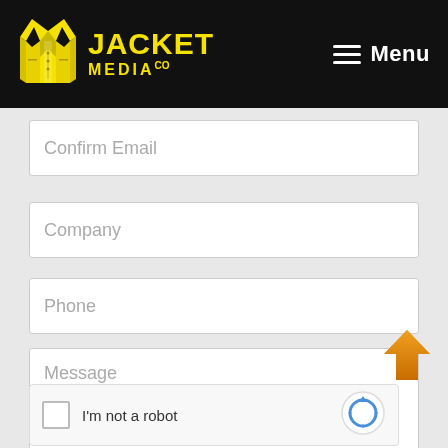[Figure (logo): Jacket Media Co logo with yellow jacket icon and yellow text on black background, plus hamburger menu icon with 'Menu' label in white]
Confirm Email
Company
Phone
Message
[Figure (other): reCAPTCHA widget with checkbox, 'I'm not a robot' label, and reCAPTCHA logo]